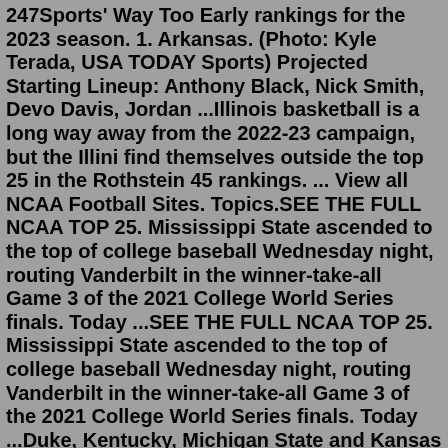247Sports' Way Too Early rankings for the 2023 season. 1. Arkansas. (Photo: Kyle Terada, USA TODAY Sports) Projected Starting Lineup: Anthony Black, Nick Smith, Devo Davis, Jordan ...Illinois basketball is a long way away from the 2022-23 campaign, but the Illini find themselves outside the top 25 in the Rothstein 45 rankings. ... View all NCAA Football Sites. Topics.SEE THE FULL NCAA TOP 25. Mississippi State ascended to the top of college baseball Wednesday night, routing Vanderbilt in the winner-take-all Game 3 of the 2021 College World Series finals. Today ...SEE THE FULL NCAA TOP 25. Mississippi State ascended to the top of college baseball Wednesday night, routing Vanderbilt in the winner-take-all Game 3 of the 2021 College World Series finals. Today ...Duke, Kentucky, Michigan State and Kansas are among the favorites heading into the 2017-18 college basketball season. Check out Heavy's initial power rankings.Purdue is No. 1 in The Associated Press men's college basketball poll for the first time. The Boilermakers were a unanimous No. 1